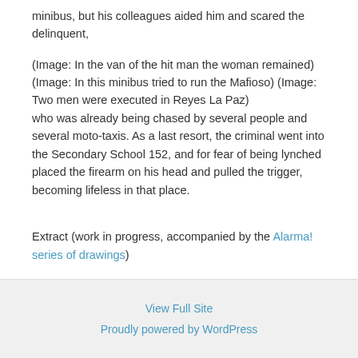minibus, but his colleagues aided him and scared the delinquent,
(Image: In the van of the hit man the woman remained) (Image: In this minibus tried to run the Mafioso) (Image: Two men were executed in Reyes La Paz)
who was already being chased by several people and several moto-taxis. As a last resort, the criminal went into the Secondary School 152, and for fear of being lynched placed the firearm on his head and pulled the trigger, becoming lifeless in that place.
Extract (work in progress, accompanied by the Alarma! series of drawings)
View Full Site
Proudly powered by WordPress